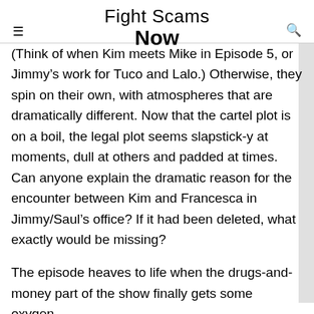Fight Scams
(Think of when Kim meets Mike in Episode 5, or Jimmy’s work for Tuco and Lalo.) Otherwise, they spin on their own, with atmospheres that are dramatically different. Now that the cartel plot is on a boil, the legal plot seems slapstick-y at moments, dull at others and padded at times. Can anyone explain the dramatic reason for the encounter between Kim and Francesca in Jimmy/Saul’s office? If it had been deleted, what exactly would be missing?
The episode heaves to life when the drugs-and-money part of the show finally gets some oxygen.